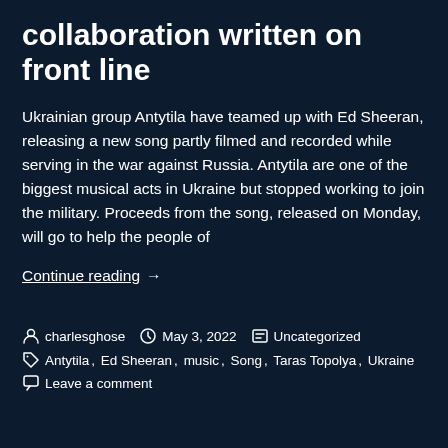collaboration written on front line
Ukrainian group Antytila have teamed up with Ed Sheeran, releasing a new song partly filmed and recorded while serving in the war against Russia. Antytila are one of the biggest musical acts in Ukraine but stopped working to join the military. Proceeds from the song, released on Monday, will go to help the people of
Continue reading  →
charlesghose  May 3, 2022  Uncategorized
Antytila, Ed Sheeran, music, Song, Taras Topolya, Ukraine
Leave a comment